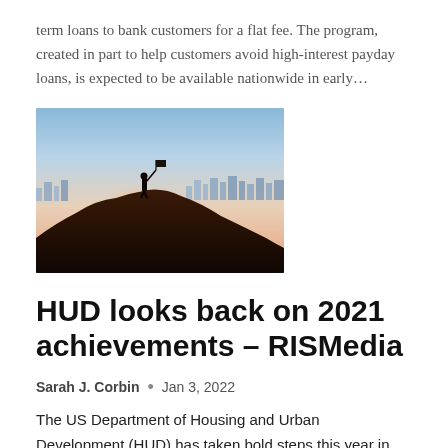term loans to bank customers for a flat fee. The program, created in part to help customers avoid high-interest payday loans, is expected to be available nationwide in early...
[Figure (photo): Silhouette of a person standing on top of a hill holding a flag, with the sun rising behind them and a city skyline in the background.]
HUD looks back on 2021 achievements – RISMedia
Sarah J. Corbin  •  Jan 3, 2022
The US Department of Housing and Urban Development (HUD) has taken bold steps this year in pursuit of the agency's mission to create strong, sustainable and inclusive communities and quality affordable...